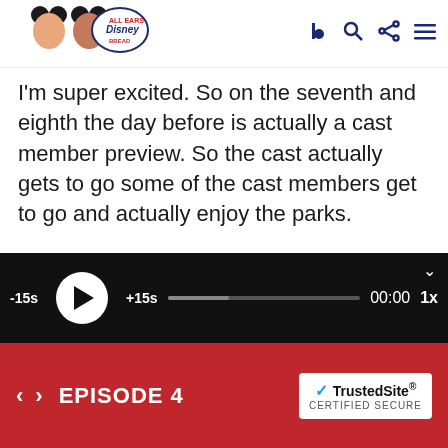All Ears Disney Bread podcast logo with navigation icons
I'm super excited. So on the seventh and eighth the day before is actually a cast member preview. So the cast actually gets to go some of the cast members get to go and actually enjoy the parks.
Kelli  2:11
Do they do the food that day? So they ride the rides? Yep. And they could can they eat the food?
[Figure (other): Audio player controls: -15s skip back, play button, +15s skip forward, progress bar, 00:00 time display, 1x speed, collapse chevron]
< > EPISODE 4   TrustedSite CERTIFIED SECURE